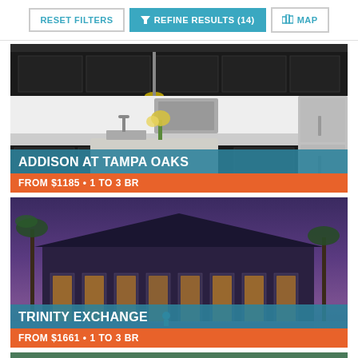RESET FILTERS | REFINE RESULTS (14) | MAP
[Figure (photo): Interior kitchen photo of Addison at Tampa Oaks apartment with dark cabinets, stainless steel appliances, and granite countertops]
ADDISON AT TAMPA OAKS
FROM $1185 • 1 TO 3 BR
[Figure (photo): Exterior night photo of Trinity Exchange apartment complex with illuminated building, pool area, and palm trees under purple twilight sky]
TRINITY EXCHANGE
FROM $1661 • 1 TO 3 BR